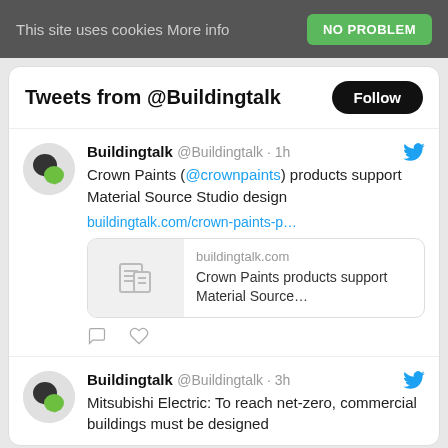This site uses cookies More info  NO PROBLEM
Tweets from @Buildingtalk
Buildingtalk @Buildingtalk · 1h
Crown Paints (@crownpaints) products support Material Source Studio design
buildingtalk.com/crown-paints-p…
buildingtalk.com Crown Paints products support Material Source…
Buildingtalk @Buildingtalk · 3h
Mitsubishi Electric: To reach net-zero, commercial buildings must be designed